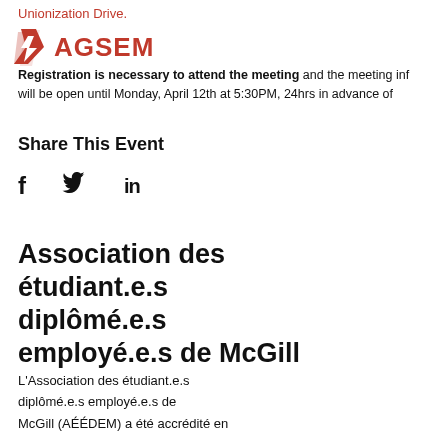Unionization Drive.
[Figure (logo): AGSEM logo with red lightning bolt A and red bold text AGSEM]
Registration is necessary to attend the meeting and the meeting inf will be open until Monday, April 12th at 5:30PM, 24hrs in advance of
Share This Event
[Figure (infographic): Social share icons: Facebook (f), Twitter (bird), LinkedIn (in)]
Association des étudiant.e.s diplômé.e.s employé.e.s de McGill
L'Association des étudiant.e.s diplômé.e.s employé.e.s de McGill (AÉÉDEM) a été accrédité en